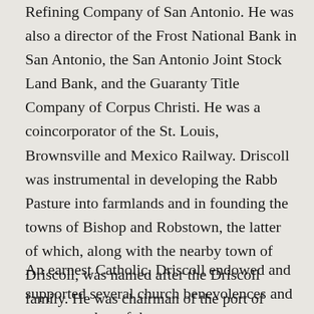Refining Company of San Antonio. He was also a director of the Frost National Bank in San Antonio, the San Antonio Joint Stock Land Bank, and the Guaranty Title Company of Corpus Christi. He was a coincorporator of the St. Louis, Brownsville and Mexico Railway. Driscoll was instrumental in developing the Rabb Pasture into farmlands and in founding the towns of Bishop and Robstown, the latter of which, along with the nearby town of Driscoll, was named after the Driscoll family. He was chairman of the port of Corpus Christi from 1926 until his death in 1929.
An earnest Catholic, Driscoll endowed and supported several church benevolences and was a member of the